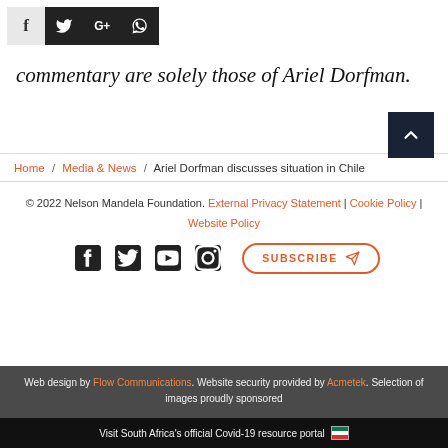[Figure (other): Social share buttons: Facebook (f), Twitter (bird), Google+ (G+), WhatsApp (phone icon)]
commentary are solely those of Ariel Dorfman.
[Figure (other): Scroll-to-top dark button with upward chevron arrow]
Home / Media & News / Ariel Dorfman discusses situation in Chile
© 2022 Nelson Mandela Foundation. External Privacy Statement | Cookie Policy | Website Policy
[Figure (other): Social icons row: Facebook, Twitter, YouTube, Instagram; and Subscribe button]
Web design by Flow Communications. Website security provided by Acmetek. Selection of images proudly sponsored
Visit South Africa's official Covid-19 resource portal